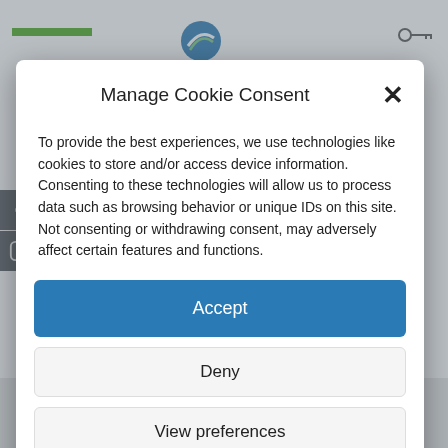[Figure (screenshot): Website background with green bar, circular logo, and key icon in header]
Manage Cookie Consent
To provide the best experiences, we use technologies like cookies to store and/or access device information. Consenting to these technologies will allow us to process data such as browsing behavior or unique IDs on this site. Not consenting or withdrawing consent, may adversely affect certain features and functions.
Accept
Deny
View preferences
Cookie Policy   Privacy Statement